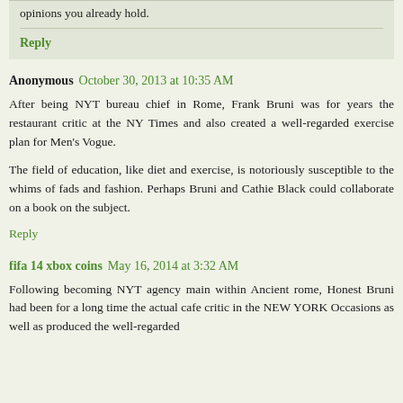opinions you already hold.
Reply
Anonymous  October 30, 2013 at 10:35 AM
After being NYT bureau chief in Rome, Frank Bruni was for years the restaurant critic at the NY Times and also created a well-regarded exercise plan for Men's Vogue.
The field of education, like diet and exercise, is notoriously susceptible to the whims of fads and fashion. Perhaps Bruni and Cathie Black could collaborate on a book on the subject.
Reply
fifa 14 xbox coins  May 16, 2014 at 3:32 AM
Following becoming NYT agency main within Ancient rome, Honest Bruni had been for a long time the actual cafe critic in the NEW YORK Occasions as well as produced the well-regarded